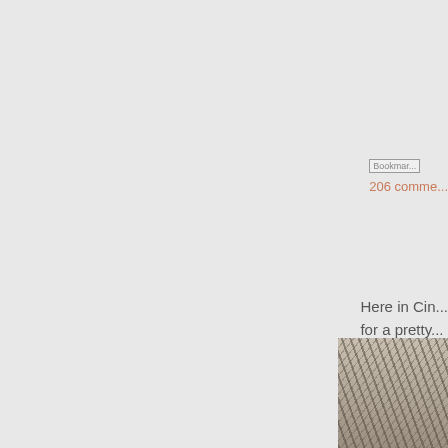[Figure (other): Bookmark icon placeholder image (partially visible at right edge)]
206 comments
Here in Cin... for a pretty...
Considering... Denver Min...
[Figure (photo): Outdoor winter photo showing bare tree branches, partially visible at bottom right]